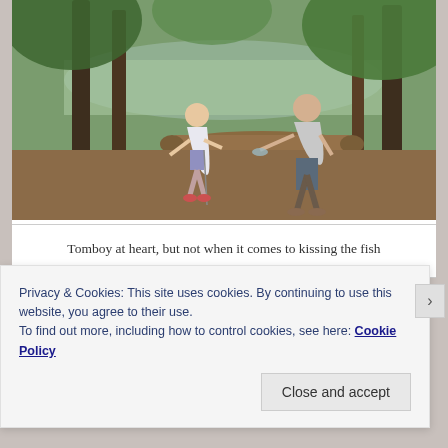[Figure (photo): An adult woman and a young girl (toddler) standing near a lake or pond surrounded by trees and logs. The girl appears to be holding a fishing rod line with a fish, and the woman is leaning toward her. Outdoor woodland/fishing scene.]
Tomboy at heart, but not when it comes to kissing the fish
Privacy & Cookies: This site uses cookies. By continuing to use this website, you agree to their use.
To find out more, including how to control cookies, see here: Cookie Policy